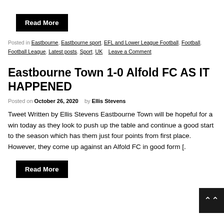Read More
Posted in Eastbourne, Eastbourne sport, EFL and Lower League Football, Football, Football League, Latest posts, Sport, UK  Leave a Comment
Eastbourne Town 1-0 Alfold FC AS IT HAPPENED
Posted on October 26, 2020  by Ellis Stevens
Tweet Written by Ellis Stevens Eastbourne Town will be hopeful for a win today as they look to push up the table and continue a good start to the season which has them just four points from first place. However, they come up against an Alfold FC in good form [.
Read More